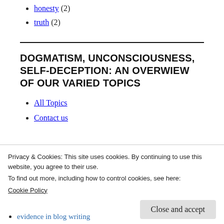honesty (2)
truth (2)
DOGMATISM, UNCONSCIOUSNESS, SELF-DECEPTION: AN OVERWIEW OF OUR VARIED TOPICS
All Topics
Contact us
Privacy & Cookies: This site uses cookies. By continuing to use this website, you agree to their use.
To find out more, including how to control cookies, see here:
Cookie Policy
evidence in blog writing